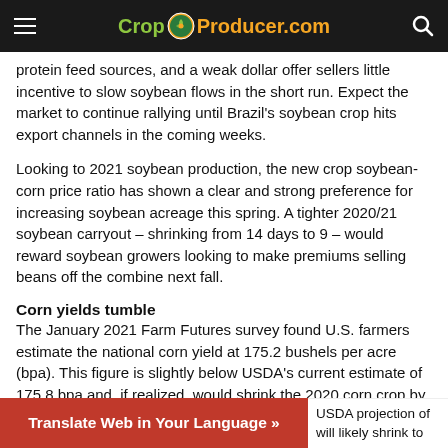CropProducer.com
protein feed sources, and a weak dollar offer sellers little incentive to slow soybean flows in the short run. Expect the market to continue rallying until Brazil's soybean crop hits export channels in the coming weeks.
Looking to 2021 soybean production, the new crop soybean-corn price ratio has shown a clear and strong preference for increasing soybean acreage this spring. A tighter 2020/21 soybean carryout – shrinking from 14 days to 9 – would reward soybean growers looking to make premiums selling beans off the combine next fall.
Corn yields tumble
The January 2021 Farm Futures survey found U.S. farmers estimate the national corn yield at 175.2 bushels per acre (bpa). This figure is slightly below USDA's current estimate of 175.8 bpa and, if realized, would shrink the 2020 corn crop by 50 million bushels to 14.547 billion bushels – the third highest crop and yield in history.
USDA projection of will likely shrink to
Translate Web in Your Language »